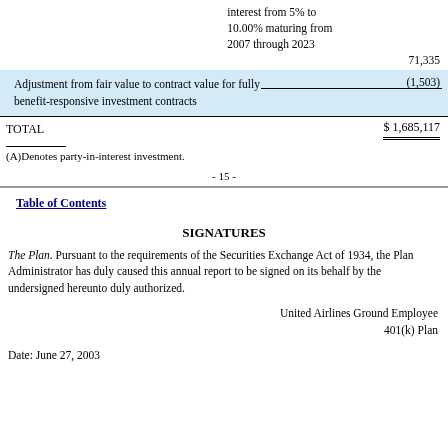interest from 5% to 10.00% maturing from 2007 through 2023
71,335
Adjustment from fair value to contract value for fully benefit-responsive investment contracts	(1,503)
TOTAL	$ 1,685,117
(A)Denotes party-in-interest investment.
- 15 -
Table of Contents
SIGNATURES
The Plan. Pursuant to the requirements of the Securities Exchange Act of 1934, the Plan Administrator has duly caused this annual report to be signed on its behalf by the undersigned hereunto duly authorized.
United Airlines Ground Employee 401(k) Plan
Date: June 27, 2003